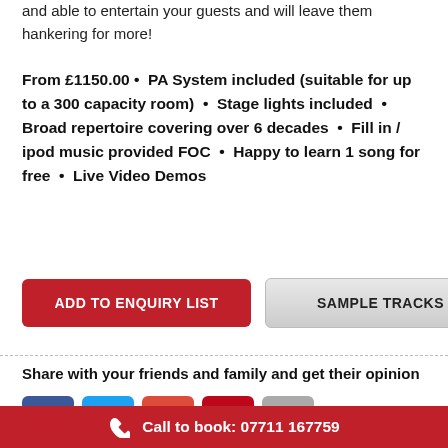and able to entertain your guests and will leave them hankering for more!
From £1150.00 • PA System included (suitable for up to a 300 capacity room) • Stage lights included • Broad repertoire covering over 6 decades • Fill in / ipod music provided FOC • Happy to learn 1 song for free • Live Video Demos
ADD TO ENQUIRY LIST
SAMPLE TRACKS
Share with your friends and family and get their opinion
[Figure (infographic): Social sharing icons: Facebook (blue), Twitter (light blue), Google+ (red), Pinterest (dark red), Email (grey)]
[Figure (photo): Partial photo showing tops of heads of two people against a grey/beige background]
Call to book: 07711 167759